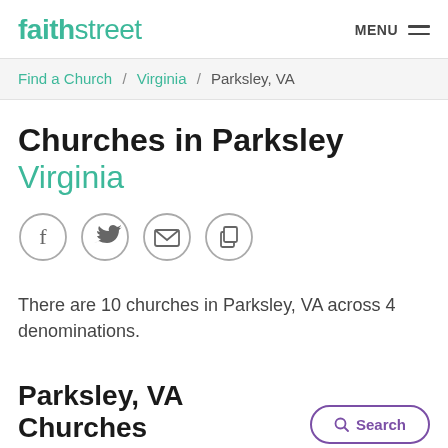faithstreet  MENU
Find a Church / Virginia / Parksley, VA
Churches in Parksley Virginia
[Figure (infographic): Four circular social share icons: Facebook (f), Twitter (bird), Email (envelope), Copy/Share (overlapping squares)]
There are 10 churches in Parksley, VA across 4 denominations.
Parksley, VA Churches